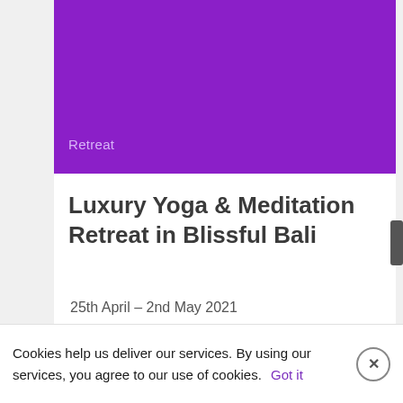[Figure (other): Purple banner image area for a yoga retreat listing]
Retreat
Luxury Yoga & Meditation Retreat in Blissful Bali
25th April – 2nd May 2021
Cookies help us deliver our services. By using our services, you agree to our use of cookies.   Got it